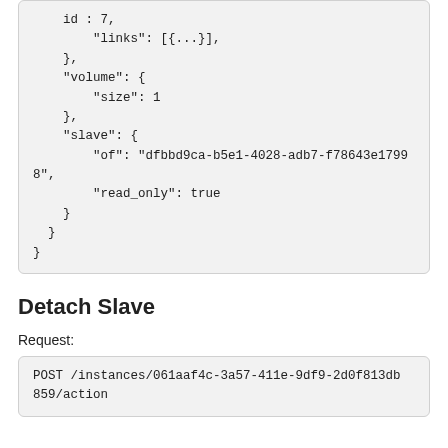id : 7,
        "links": [{...}],
    },
    "volume": {
        "size": 1
    },
    "slave": {
        "of": "dfbbd9ca-b5e1-4028-adb7-f78643e17998",
        "read_only": true
    }
  }
}
Detach Slave
Request:
POST /instances/061aaf4c-3a57-411e-9df9-2d0f813db859/action